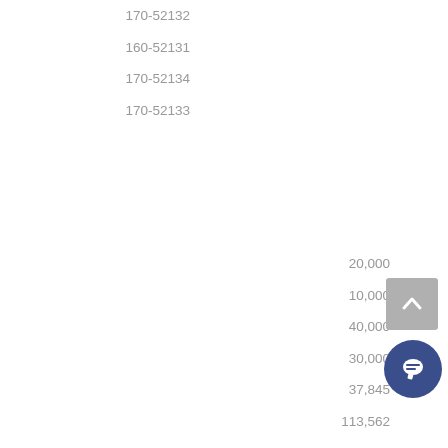170-52132
160-52131
170-52134
170-52133
20,000
10,000
40,000
30,000
37,845
113,562
75,708
151,417
1.7
5.1
3.4
6.8